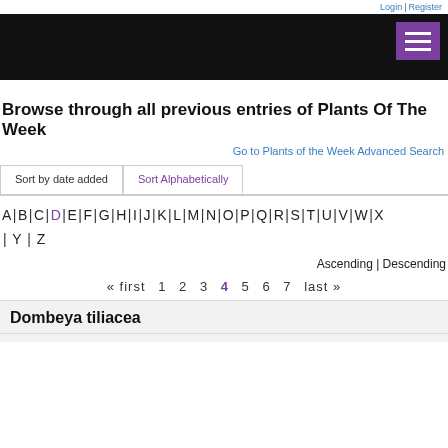Login | Register
Browse through all previous entries of Plants Of The Week
Go to Plants of the Week Advanced Search
Sort by date added	Sort Alphabetically
A | B | C | D | E | F | G | H | I | J | K | L | M | N | O | P | Q | R | S | T | U | V | W | X | Y | Z
Ascending | Descending
« first  1  2  3  4  5  6  7  last »
Dombeya tiliacea